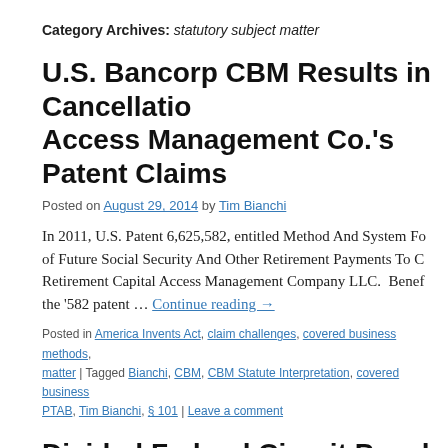Category Archives: statutory subject matter
U.S. Bancorp CBM Results in Cancellation of Access Management Co.'s Patent Claims
Posted on August 29, 2014 by Tim Bianchi
In 2011, U.S. Patent 6,625,582, entitled Method And System Fo... of Future Social Security And Other Retirement Payments To C... Retirement Capital Access Management Company LLC.  Benef... the '582 patent … Continue reading →
Posted in America Invents Act, claim challenges, covered business methods, matter | Tagged Bianchi, CBM, CBM Statute Interpretation, covered business... PTAB, Tim Bianchi, § 101 | Leave a comment
Divided Federal Circuit Panel Finds Comp... Not Patent-Eligible
Posted on September 8, 2013 by Tim Bianchi